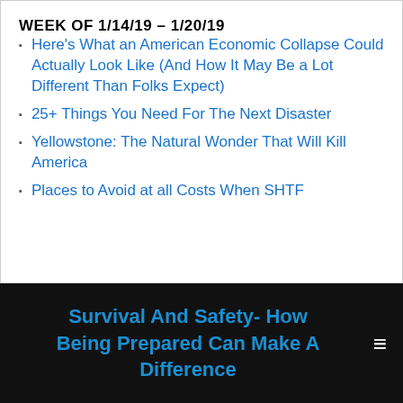WEEK OF 1/14/19 – 1/20/19
Here's What an American Economic Collapse Could Actually Look Like (And How It May Be a Lot Different Than Folks Expect)
25+ Things You Need For The Next Disaster
Yellowstone: The Natural Wonder That Will Kill America
Places to Avoid at all Costs When SHTF
Survival And Safety- How Being Prepared Can Make A Difference